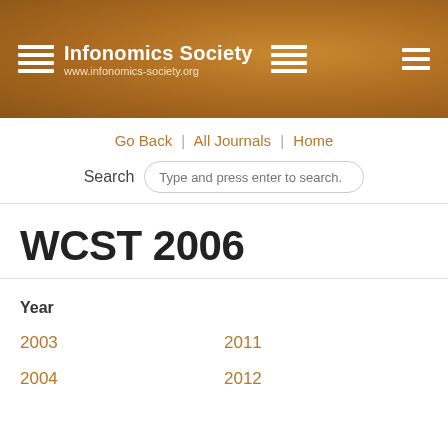Infonomics Society | www.infonomics-society.org
Go Back | All Journals | Home
Search  Type and press enter to search.
WCST 2006
Year
2003
2011
2004
2012